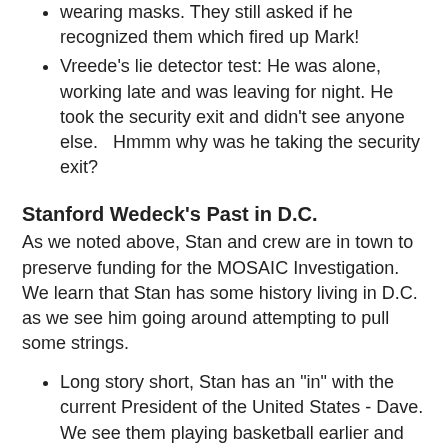wearing masks.  They still asked if he recognized them which fired up Mark!
Vreede's lie detector test:  He was alone, working late and was leaving for night. He took the security exit and didn't see anyone else.   Hmmm why was he taking the security exit?
Stanford Wedeck's Past in D.C.
As we noted above, Stan and crew are in town to preserve funding for the MOSAIC Investigation.  We learn that Stan has some history living in D.C. as we see him going around attempting to pull some strings.
Long story short, Stan has an "in" with the current President of the United States - Dave.  We see them playing basketball earlier and Stan was asking Dave for a big dog in his corner.  We learn that both of them seem to have some kind of sketchy past and that Wedeck is not too friendly with Clemente (the senator in charge of the hearings). It is also till Dave's been the mediator...